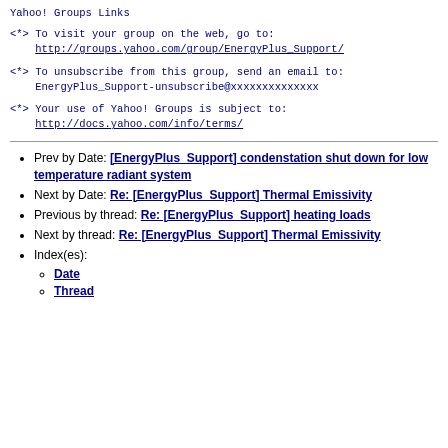Yahoo! Groups Links
<*> To visit your group on the web, go to:
    http://groups.yahoo.com/group/EnergyPlus_Support/
<*> To unsubscribe from this group, send an email to:
    EnergyPlus_Support-unsubscribe@xxxxxxxxxxxxxx
<*> Your use of Yahoo! Groups is subject to:
    http://docs.yahoo.com/info/terms/
Prev by Date: [EnergyPlus_Support] condenstation shut down for low temperature radiant system
Next by Date: Re: [EnergyPlus_Support] Thermal Emissivity
Previous by thread: Re: [EnergyPlus_Support] heating loads
Next by thread: Re: [EnergyPlus_Support] Thermal Emissivity
Index(es):
Date
Thread